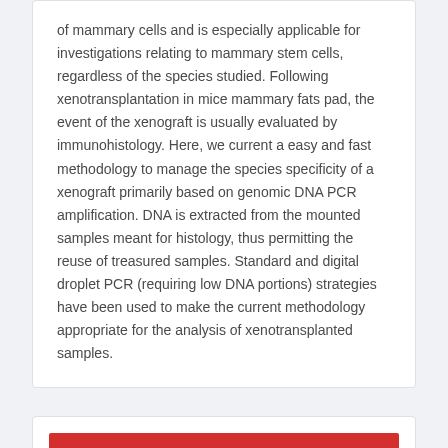of mammary cells and is especially applicable for investigations relating to mammary stem cells, regardless of the species studied. Following xenotransplantation in mice mammary fats pad, the event of the xenograft is usually evaluated by immunohistology. Here, we current a easy and fast methodology to manage the species specificity of a xenograft primarily based on genomic DNA PCR amplification. DNA is extracted from the mounted samples meant for histology, thus permitting the reuse of treasured samples. Standard and digital droplet PCR (requiring low DNA portions) strategies have been used to make the current methodology appropriate for the analysis of xenotransplanted samples.
[Figure (illustration): Advertisement banner for MOM/ANIMAL IHC Kit with red header reading 'presenting' in italic script, a middle section reading '- Background-free - Rapid -' with geometric pink/orange shapes, and a dark bottom bar with bold text 'MOM/ANIMAL IHC Kit' and an orange scroll-up button.]